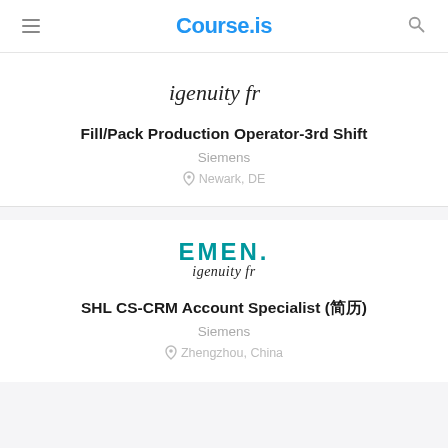Course.is
[Figure (logo): Cursive script logo reading 'igenuity fr']
Fill/Pack Production Operator-3rd Shift
Siemens
Newark, DE
[Figure (logo): EMEN. logo in teal with cursive script 'igenuity fr' below]
SHL CS-CRM Account Specialist (简历)
Siemens
Zhengzhou, China